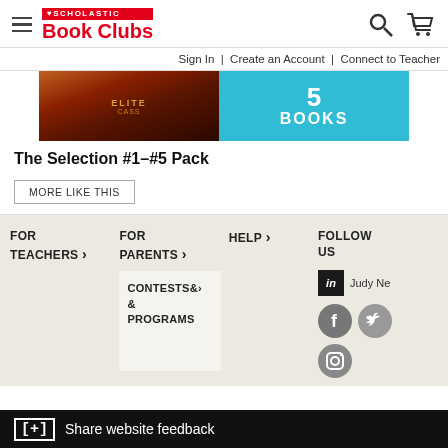Scholastic Book Clubs
Sign In | Create an Account | Connect to Teacher
[Figure (screenshot): Promotional banner showing The Selection book series with '5 BOOKS' call to action on a teal background]
The Selection #1–#5 Pack
MORE LIKE THIS
FOR TEACHERS ›
FOR PARENTS ›
HELP ›
FOLLOW US
CONTESTS & PROGRAMS ›
Judy Ne
[+] Share website feedback